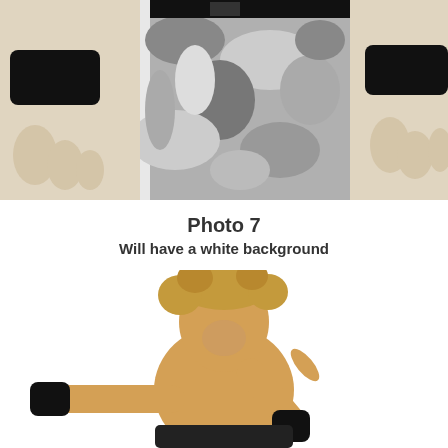[Figure (photo): Close-up of a wrestler's midsection wearing gray camouflage shorts with a black belt, hands with black wrist wraps visible on both sides]
Photo 7
Will have a white background
[Figure (photo): A muscular male wrestler with curly blonde hair, shirtless, wearing black wrist wraps, pointing with one hand on a white background]